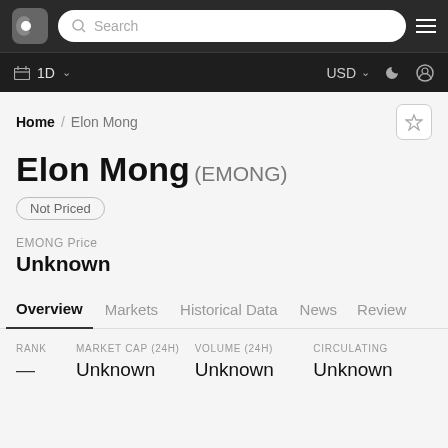Search | 1D | USD
Home / Elon Mong
Elon Mong (EMONG)
Not Priced
EMONG Price
Unknown
Overview  Markets  Historical Data  News  Review
| RANK | MARKET CAP (24H) | VOLUME (24H) | CIRCULATING |
| --- | --- | --- | --- |
| — | Unknown | Unknown | Unknown |